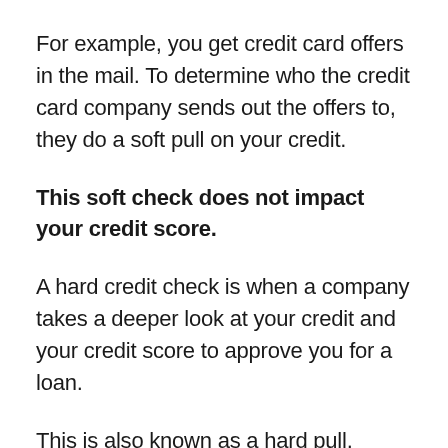For example, you get credit card offers in the mail. To determine who the credit card company sends out the offers to, they do a soft pull on your credit.
This soft check does not impact your credit score.
A hard credit check is when a company takes a deeper look at your credit and your credit score to approve you for a loan.
This is also known as a hard pull.
This is also known as a form of...